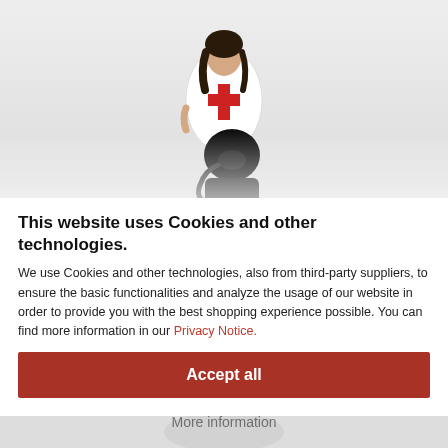[Figure (photo): Woman dressed as a nurse in white dress with red cross, standing over a person in a black mask/costume, on a white background.]
This website uses Cookies and other technologies.
We use Cookies and other technologies, also from third-party suppliers, to ensure the basic functionalities and analyze the usage of our website in order to provide you with the best shopping experience possible. You can find more information in our Privacy Notice.
Accept all
More information